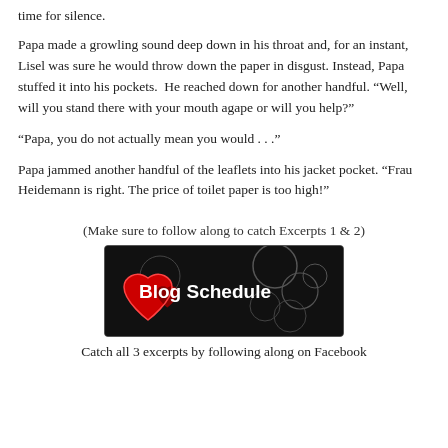time for silence.
Papa made a growling sound deep down in his throat and, for an instant, Lisel was sure he would throw down the paper in disgust. Instead, Papa stuffed it into his pockets.  He reached down for another handful. “Well, will you stand there with your mouth agape or will you help?”
“Papa, you do not actually mean you would . . .”
Papa jammed another handful of the leaflets into his jacket pocket. “Frau Heidemann is right. The price of toilet paper is too high!”
(Make sure to follow along to catch Excerpts 1 & 2)
[Figure (illustration): Blog Schedule banner with dark background, decorative heart and swirl graphics on the left, and bold white text reading 'Blog Schedule']
Catch all 3 excerpts by following along on Facebook